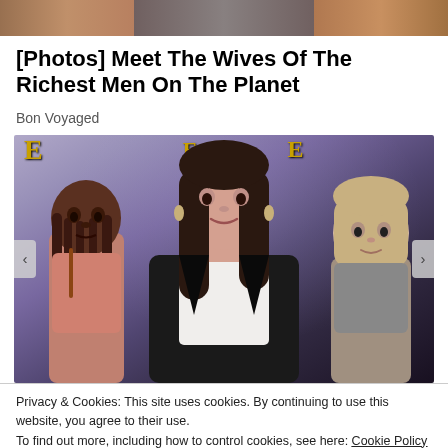[Figure (photo): Cropped top portion of a photo banner showing two people, partially visible at the top of the page]
[Photos] Meet The Wives Of The Richest Men On The Planet
Bon Voyaged
[Figure (photo): Photo of a woman (center) with long brown hair wearing a black jacket and white top, flanked by a girl with braids on the left and a girl with a blonde bob on the right, at what appears to be a movie premiere with a purple/gold backdrop]
Privacy & Cookies: This site uses cookies. By continuing to use this website, you agree to their use.
To find out more, including how to control cookies, see here: Cookie Policy
Close and accept
The Grio